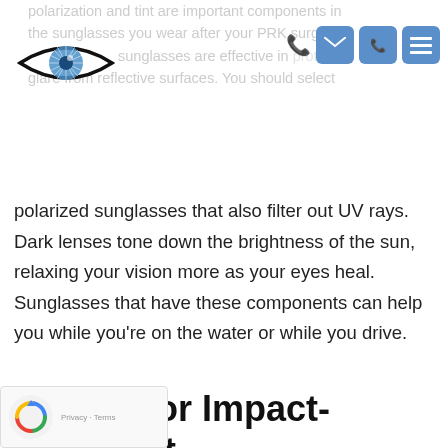polarization and tint are important components in the sunglasses you wear after your PRK surgery. Sunglasses are effective in protecting your glare from reflective surfaces. You should select
[Figure (logo): Eye clinic logo: stylized eye outline in black with blue iris/cornea graphic inside]
polarized sunglasses that also filter out UV rays. Dark lenses tone down the brightness of the sun, relaxing your vision more as your eyes heal. Sunglasses that have these components can help you while you're on the water or while you drive.
Search for Impact-Resistant Sunglasses
Eye specialists recommend durable lenses for your glasses. The said lenses should meet the high standards of the U.S.F.D.A. (U.S. Food and Drug